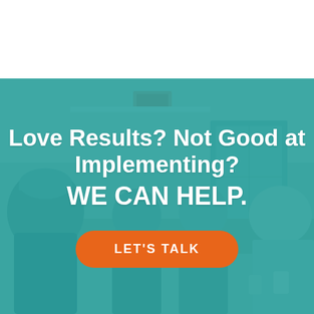[Figure (photo): Photo of people sitting around a table in a meeting/workshop setting, overlaid with a teal/turquoise color wash. A person wearing a cap is visible on the left side. Others are seated at the table. Room has windows and a wall sign in the background.]
Love Results? Not Good at Implementing? WE CAN HELP.
LET'S TALK